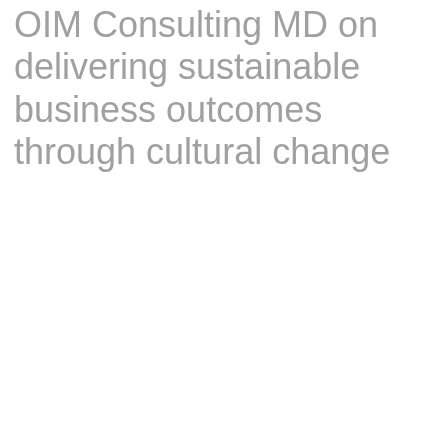OIM Consulting MD on delivering sustainable business outcomes through cultural change